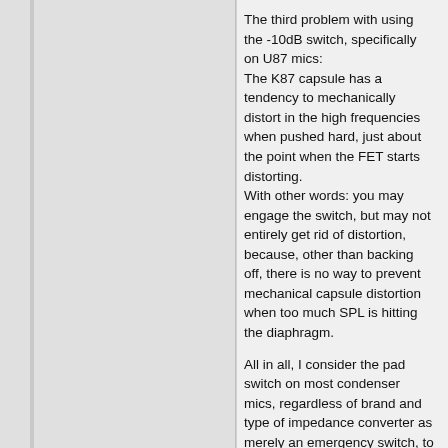The third problem with using the -10dB switch, specifically on U87 mics:
The K87 capsule has a tendency to mechanically distort in the high frequencies when pushed hard, just about the point when the FET starts distorting.
With other words: you may engage the switch, but may not entirely get rid of distortion, because, other than backing off, there is no way to prevent mechanical capsule distortion when too much SPL is hitting the diaphragm.

All in all, I consider the pad switch on most condenser mics, regardless of brand and type of impedance converter as merely an emergency switch, to be used only in rare cases of